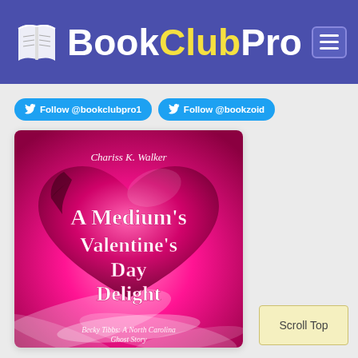BookClubPro
Follow @bookclubpro1
Follow @bookzoid
[Figure (illustration): Book cover for 'A Medium's Valentine's Day Delight' by Chariss K. Walker. Features a large pink/magenta heart with swirling pink and white background. White text reads: Chariss K. Walker, A Medium's Valentine's Day Delight. Subtitle text: Becky Tibbs: A North Carolina Ghost Story.]
Scroll Top